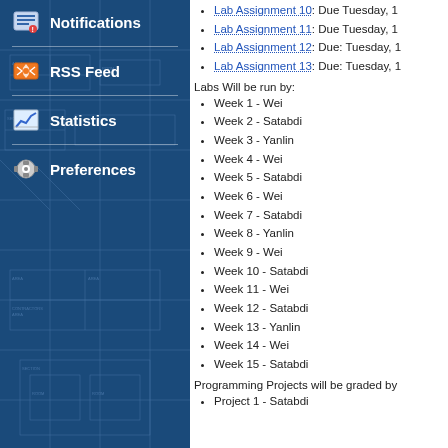Notifications
RSS Feed
Statistics
Preferences
Lab Assignment 10: Due Tuesday, 1
Lab Assignment 11: Due Tuesday, 1
Lab Assignment 12: Due: Tuesday, 1
Lab Assignment 13: Due: Tuesday, 1
Labs Will be run by:
Week 1 - Wei
Week 2 - Satabdi
Week 3 - Yanlin
Week 4 - Wei
Week 5 - Satabdi
Week 6 - Wei
Week 7 - Satabdi
Week 8 - Yanlin
Week 9 - Wei
Week 10 - Satabdi
Week 11 - Wei
Week 12 - Satabdi
Week 13 - Yanlin
Week 14 - Wei
Week 15 - Satabdi
Programming Projects will be graded by
Project 1 - Satabdi